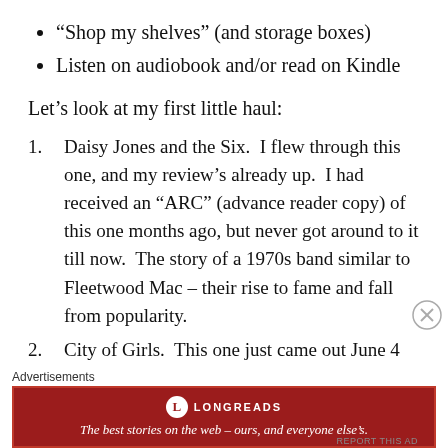“Shop my shelves” (and storage boxes)
Listen on audiobook and/or read on Kindle
Let’s look at my first little haul:
Daisy Jones and the Six.  I flew through this one, and my review’s already up.  I had received an “ARC” (advance reader copy) of this one months ago, but never got around to it till now.  The story of a 1970s band similar to Fleetwood Mac – their rise to fame and fall from popularity.
City of Girls.  This one just came out June 4 and I can’t WAIT to read it!  New York showgirls in the 1940s
Advertisements
[Figure (infographic): Longreads advertisement banner: red background with Longreads logo and tagline 'The best stories on the web – ours, and everyone else’s.']